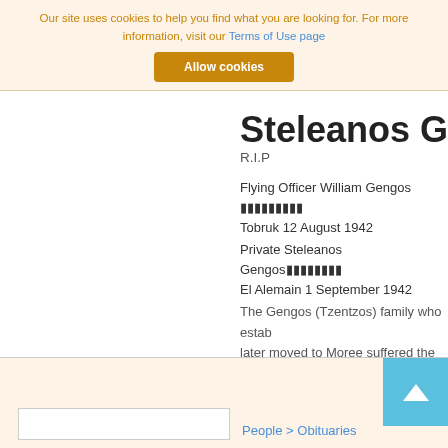Our site uses cookies to help you find what you are looking for. For more information, visit our Terms of Use page
Allow cookies
Steleanos Ge...
R.I.P
Flying Officer William Gengos [Greek characters] Tobruk 12 August 1942
Private Steleanos Gengos[Greek characters] El Alemain 1 September 1942
The Gengos (Tzentzos) family who estab... later moved to Moree suffered the greate... William Gengos and Private Steleanos (S... a few weeks of ...
People > Obituaries